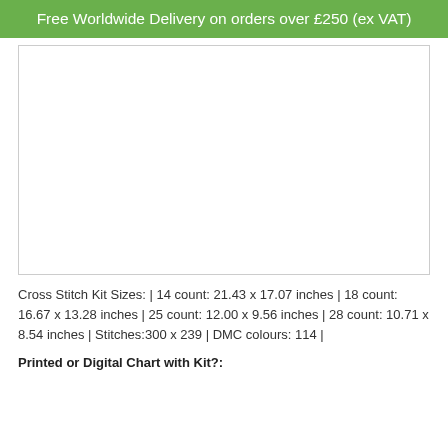Free Worldwide Delivery on orders over £250 (ex VAT)
[Figure (photo): White/blank product image area with border]
Cross Stitch Kit Sizes:  | 14 count: 21.43 x 17.07 inches | 18 count: 16.67 x 13.28 inches | 25 count: 12.00 x 9.56 inches | 28 count: 10.71 x 8.54 inches | Stitches:300 x 239 | DMC colours: 114 |
Printed or Digital Chart with Kit?: